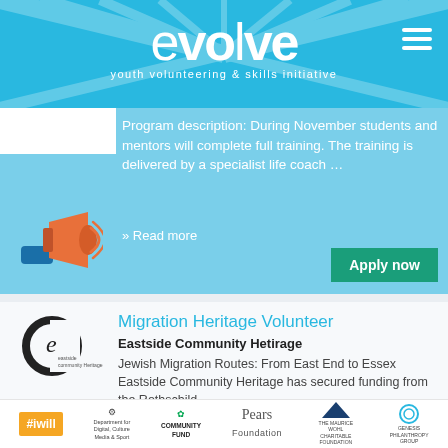evolve — youth volunteering & skills initiative
Program description: During November students and mentors will complete full training. The training is delivered by a specialist life coach ...
>> Read more
Apply now
Migration Heritage Volunteer
Eastside Community Hetirage
Jewish Migration Routes: From East End to Essex Eastside Community Heritage has secured funding from the Rothschild
#iwill   Department for Digital, Culture Media & Sport   Community Fund   Pears Foundation   The Wallace Wall Charitable Foundation   Genesis Philanthropy Group